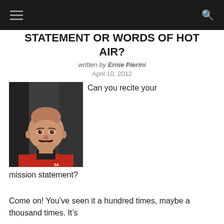navigation bar with hamburger menu and search icon
STATEMENT OR WORDS OF HOT AIR?
written by Ernie Pierini
April 10, 2012
[Figure (photo): Headshot photo of a bald man with a mustache wearing a red shirt, smiling, dark background]
Can you recite your mission statement?
Come on! You've seen it a hundred times, maybe a thousand times. It's